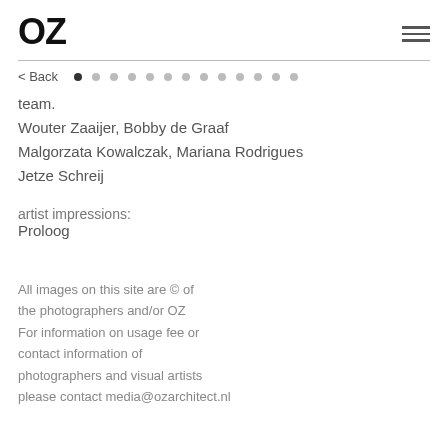OZ
< Back
team.
Wouter Zaaijer, Bobby de Graaf
Malgorzata Kowalczak, Mariana Rodrigues
Jetze Schreij
artist impressions:
Proloog
All images on this site are © of the photographers and/or OZ For information on usage fee or contact information of photographers and visual artists please contact media@ozarchitect.nl